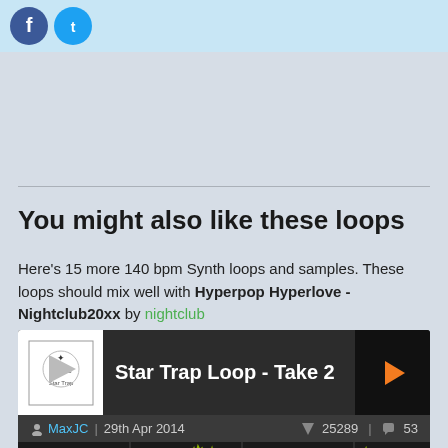[Figure (screenshot): Top banner with Facebook and Twitter social icons on light blue background]
You might also like these loops
Here's 15 more 140 bpm Synth loops and samples. These loops should mix well with Hyperpop Hyperlove - Nightclub20xx by nightclub
[Figure (infographic): Music loop card for 'Star Trap Loop - Take 2' by MaxJC, dated 29th Apr 2014, with 25289 downloads and 53 comments, showing an audio waveform]